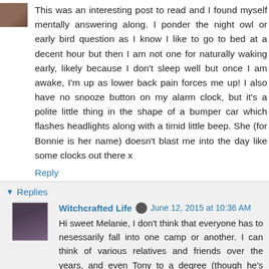This was an interesting post to read and I found myself mentally answering along. I ponder the night owl or early bird question as I know I like to go to bed at a decent hour but then I am not one for naturally waking early, likely because I don't sleep well but once I am awake, I'm up as lower back pain forces me up! I also have no snooze button on my alarm clock, but it's a polite little thing in the shape of a bumper car which flashes headlights along with a timid little beep. She (for Bonnie is her name) doesn't blast me into the day like some clocks out there x
Reply
Replies
Witchcrafted Life  June 12, 2015 at 10:36 AM
Hi sweet Melanie, I don't think that everyone has to nesessarily fall into one camp or another. I can think of various relatives and friends over the years, and even Tony to a degree (though he's more night owl than morning lark), who didn't have strong leanings either way. At times I envy